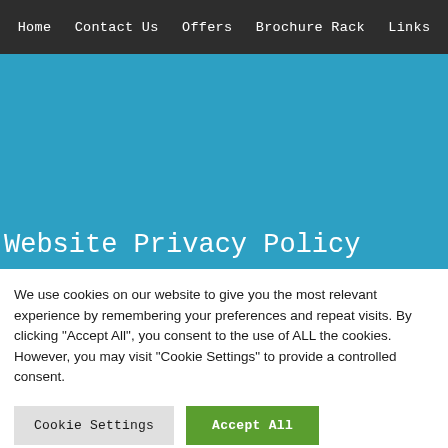Home  Contact Us  Offers  Brochure Rack  Links
[Figure (other): Blue hero banner background image area]
Website Privacy Policy
We use cookies on our website to give you the most relevant experience by remembering your preferences and repeat visits. By clicking "Accept All", you consent to the use of ALL the cookies. However, you may visit "Cookie Settings" to provide a controlled consent.
Cookie Settings  Accept All